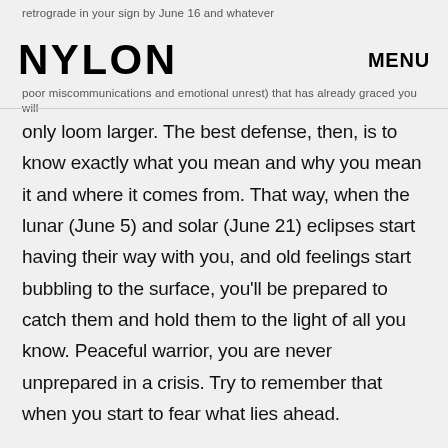retrograde in your sign by June 16 and whatever poor miscommunications and
NYLON   MENU
emotional unrest) that has already graced you will
only loom larger. The best defense, then, is to know exactly what you mean and why you mean it and where it comes from. That way, when the lunar (June 5) and solar (June 21) eclipses start having their way with you, and old feelings start bubbling to the surface, you'll be prepared to catch them and hold them to the light of all you know. Peaceful warrior, you are never unprepared in a crisis. Try to remember that when you start to fear what lies ahead.